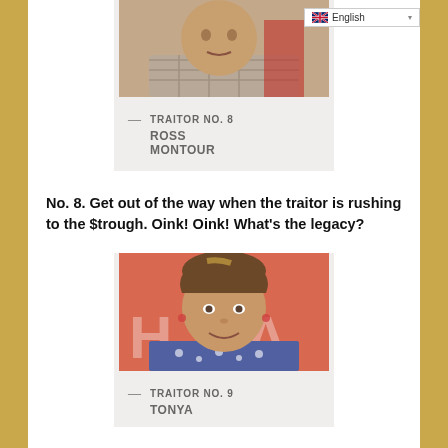[Figure (photo): Photo of Ross Montour, a man in a plaid shirt, partially cropped]
— TRAITOR NO. 8
ROSS
MONTOUR
No. 8. Get out of the way when the traitor is rushing to the $trough. Oink! Oink! What's the legacy?
[Figure (photo): Photo of Tonya, a woman with highlighted hair pulled back, smiling, against a pink background]
— TRAITOR NO. 9
TONYA